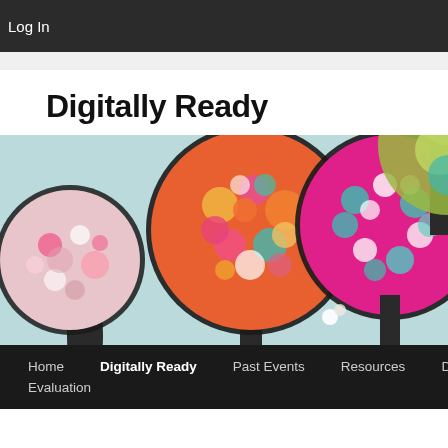Log In
Digitally Ready
[Figure (illustration): Colorful stylized illustration of decorative trees with patterned circular canopies in pink, orange, teal, and gold colors on a light blue background]
Home
Digitally Ready
Past Events
Resources
Digital Heroes
Evaluation